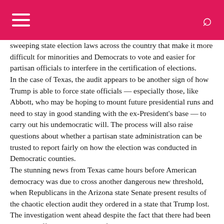[hamburger menu] [search icon]
sweeping state election laws across the country that make it more difficult for minorities and Democrats to vote and easier for partisan officials to interfere in the certification of elections.
In the case of Texas, the audit appears to be another sign of how Trump is able to force state officials — especially those, like Abbott, who may be hoping to mount future presidential runs and need to stay in good standing with the ex-President's base — to carry out his undemocratic will. The process will also raise questions about whether a partisan state administration can be trusted to report fairly on how the election was conducted in Democratic counties.
The stunning news from Texas came hours before American democracy was due to cross another dangerous new threshold, when Republicans in the Arizona state Senate present results of the chaotic election audit they ordered in a state that Trump lost. The investigation went ahead despite the fact that there had been multiple official hand counts of votes and multiple courts cases that had debunked Trump's claims of fraud, that the election had been certified and Biden is rightfully President. The firm charged with the audit by Republicans, Cyber Ninjas, had no experience in elections, has links to Trump's orbit and conducted a bizarre process carried out in secrecy.
But the release of the report into vote counts, voting